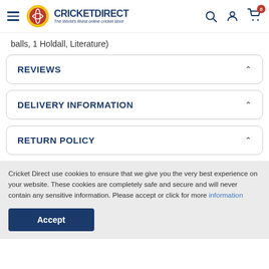Cricket Direct - The World's finest online cricket store
balls, 1 Holdall, Literature)
REVIEWS
DELIVERY INFORMATION
RETURN POLICY
Cricket Direct use cookies to ensure that we give you the very best experience on your website. These cookies are completely safe and secure and will never contain any sensitive information. Please accept or click for more information
Accept